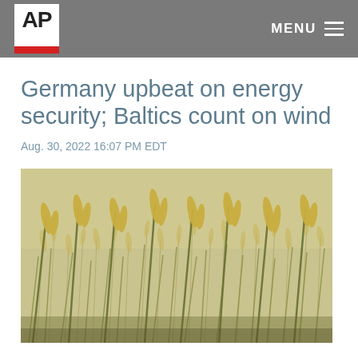AP | MENU
Germany upbeat on energy security; Baltics count on wind
Aug. 30, 2022 16:07 PM EDT
[Figure (photo): Close-up photo of dry wild grass or wheat field with golden and green tones]